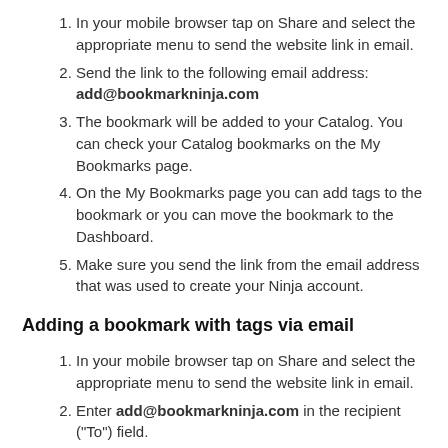In your mobile browser tap on Share and select the appropriate menu to send the website link in email.
Send the link to the following email address: add@bookmarkninja.com
The bookmark will be added to your Catalog. You can check your Catalog bookmarks on the My Bookmarks page.
On the My Bookmarks page you can add tags to the bookmark or you can move the bookmark to the Dashboard.
Make sure you send the link from the email address that was used to create your Ninja account.
Adding a bookmark with tags via email
In your mobile browser tap on Share and select the appropriate menu to send the website link in email.
Enter add@bookmarkninja.com in the recipient ("To") field.